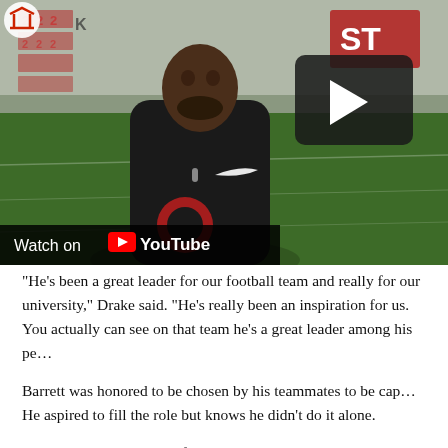[Figure (screenshot): YouTube video thumbnail showing a football player in a black Ohio State jersey being interviewed on an indoor practice field. A YouTube play button overlay is visible in the upper right of the video. A 'Watch on YouTube' bar appears at the bottom left of the video frame.]
“He’s been a great leader for our football team and really for our university,” Drake said. “He’s really been an inspiration for us. You actually can see on that team he's a great leader among his pe…
Barrett was honored to be chosen by his teammates to be cap… He aspired to fill the role but knows he didn’t do it alone.
“I think it’s not just myself – there’s other leaders that we have…